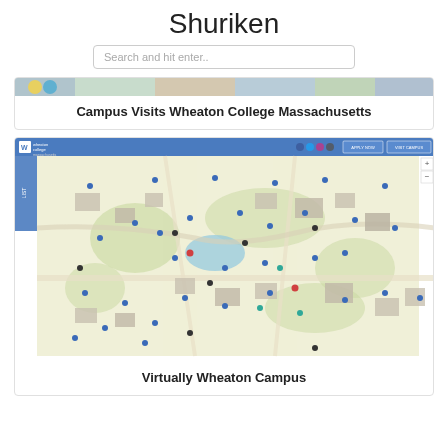Shuriken
Search and hit enter..
[Figure (screenshot): Campus Visits Wheaton College Massachusetts – colorful banner image strip]
Campus Visits Wheaton College Massachusetts
[Figure (map): Virtually Wheaton Campus – interactive campus map screenshot showing Wheaton College Massachusetts campus map with blue header navigation bar, building locations marked with colored dots]
Virtually Wheaton Campus